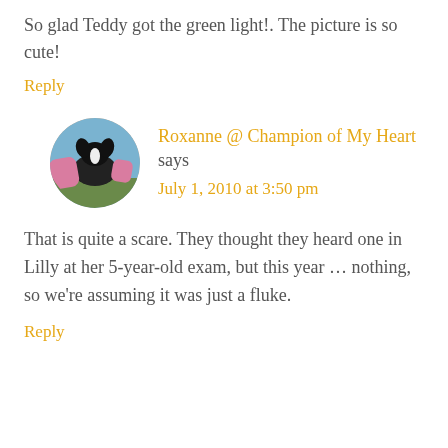So glad Teddy got the green light!. The picture is so cute!
Reply
Roxanne @ Champion of My Heart says
July 1, 2010 at 3:50 pm
That is quite a scare. They thought they heard one in Lilly at her 5-year-old exam, but this year … nothing, so we're assuming it was just a fluke.
Reply